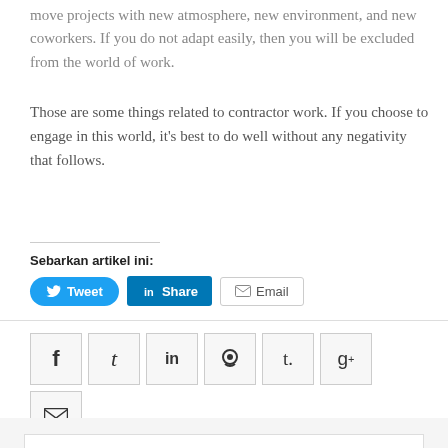move projects with new atmosphere, new environment, and new coworkers. If you do not adapt easily, then you will be excluded from the world of work.
Those are some things related to contractor work. If you choose to engage in this world, it's best to do well without any negativity that follows.
Sebarkan artikel ini:
[Figure (other): Social share buttons: Tweet (Twitter, blue rounded), Share (LinkedIn, blue square), Email (white with border)]
[Figure (other): Social media icon grid: Facebook (f), Twitter (t), LinkedIn (in), Reddit, Tumblr (t.), Google+ (g+), Email (envelope icon)]
Going to Rent an Excavator? Better Pay Attention to This First